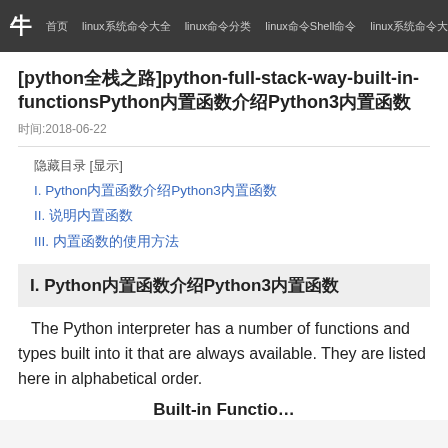牛  首页  linux系统命令大全  linux命令分类  linux命令Shell命令  linux系统命令大全  lin
[python全栈之路]python-full-stack-way-built-in-functionsPython内置函数介绍Python3内置函数
时间:2018-06-22
隐藏目录 [显示]
I. Python内置函数介绍Python3内置函数
II. 说明内置函数
III. 内置函数的使用方法
I. Python内置函数介绍Python3内置函数
The Python interpreter has a number of functions and types built into it that are always available. They are listed here in alphabetical order.
Built-in Functio…